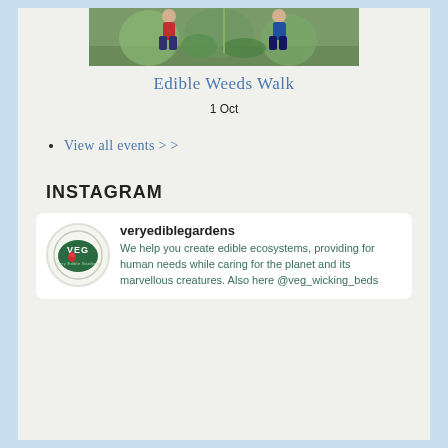[Figure (photo): People gardening outdoors, bending over plants in a garden bed]
Edible Weeds Walk
1 Oct
View all events > >
INSTAGRAM
[Figure (logo): VEG (Very Edible Gardens) circular logo with tomato graphic]
veryediblegardens
We help you create edible ecosystems, providing for human needs while caring for the planet and its marvellous creatures. Also here @veg_wicking_beds